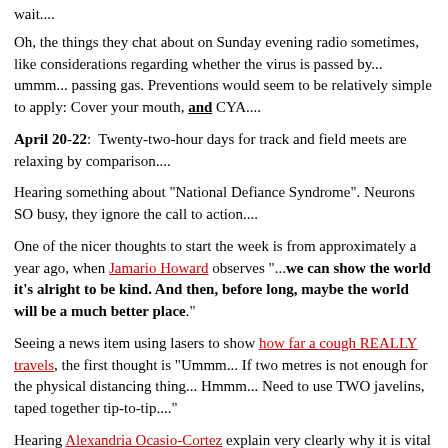wait....
Oh, the things they chat about on Sunday evening radio sometimes, like considerations regarding whether the virus is passed by... ummm... passing gas. Preventions would seem to be relatively simple to apply: Cover your mouth, and CYA....
April 20-22: Twenty-two-hour days for track and field meets are relaxing by comparison....
Hearing something about "National Defiance Syndrome". Neurons SO busy, they ignore the call to action....
One of the nicer thoughts to start the week is from approximately a year ago, when Jamario Howard observes "...we can show the world it's alright to be kind. And then, before long, maybe the world will be a much better place."
Seeing a news item using lasers to show how far a cough REALLY travels, the first thought is "Ummm... If two metres is not enough for the physical distancing thing... Hmmm... Need to use TWO javelins, taped together tip-to-tip...."
Hearing Alexandria Ocasio-Cortez explain very clearly why it is vital for government support to be immediate and thorough: